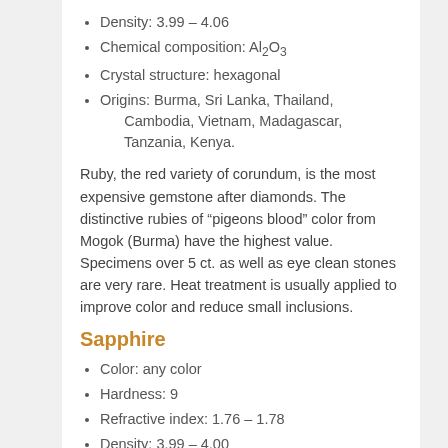Density: 3.99 – 4.06
Chemical composition: Al2O3
Crystal structure: hexagonal
Origins: Burma, Sri Lanka, Thailand, Cambodia, Vietnam, Madagascar, Tanzania, Kenya.
Ruby, the red variety of corundum, is the most expensive gemstone after diamonds. The distinctive rubies of "pigeons blood" color from Mogok (Burma) have the highest value. Specimens over 5 ct. as well as eye clean stones are very rare. Heat treatment is usually applied to improve color and reduce small inclusions.
Sapphire
Color: any color
Hardness: 9
Refractive index: 1.76 – 1.78
Density: 3.99 – 4.00
Chemical composition: Al2O3
Crystal structure: hexagonal
Origins: Burma, Sri Lanka, India, Madagascar, Kenya, Tanzania, Thailand, Cambodia, China...